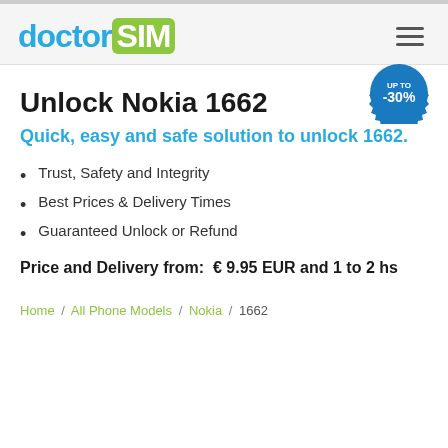[Figure (logo): doctorSIM logo with 'doctor' in blue and 'SIM' in white on green rounded rectangle]
Unlock Nokia 1662
Quick, easy and safe solution to unlock 1662.
Trust, Safety and Integrity
Best Prices & Delivery Times
Guaranteed Unlock or Refund
Price and Delivery from:  € 9.95 EUR and 1 to 2 hs
Home / All Phone Models / Nokia / 1662